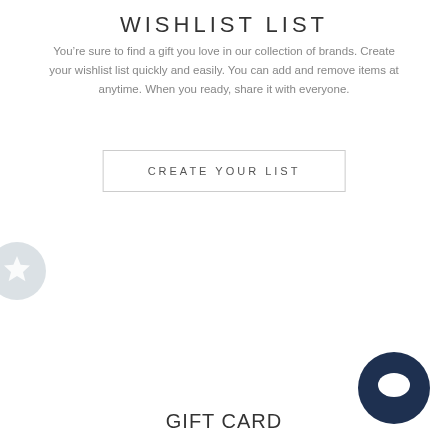WISHLIST LIST
You’re sure to find a gift you love in our collection of brands. Create your wishlist list quickly and easily. You can add and remove items at anytime. When you ready, share it with everyone.
CREATE YOUR LIST
[Figure (illustration): A circular badge with a star icon in grey/blue tones, partially visible at the left edge of the page]
[Figure (illustration): A dark navy blue circle with a white chat bubble icon, positioned at the bottom right of the page]
GIFT CARD